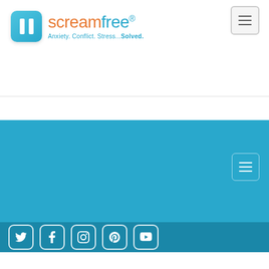[Figure (logo): ScreamFree logo: blue rounded square with white pause bars, orange 'scream' and cyan 'free' brand name, tagline 'Anxiety. Conflict. Stress...Solved.']
[Figure (other): Hamburger menu button (three horizontal lines) in top right corner, gray bordered rounded rectangle]
[Figure (other): Blue section with hamburger menu button (white lines) in white-bordered rounded rectangle on right side]
[Figure (other): Dark blue footer bar with five social media icons: Twitter, Facebook, Instagram, Pinterest, YouTube — white outlined rounded square icons]